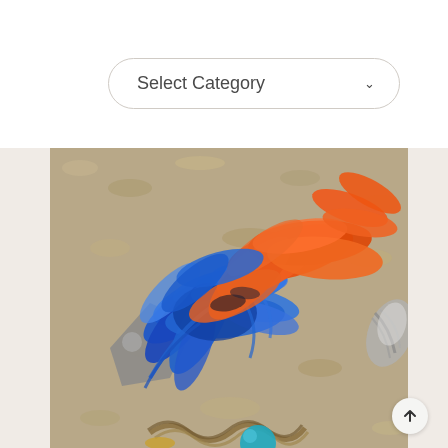Select Category
[Figure (photo): Close-up photo of colorful blue and orange feather cat toys on a beige carpet, with additional feathered and rope toys visible in the lower portion of the image.]